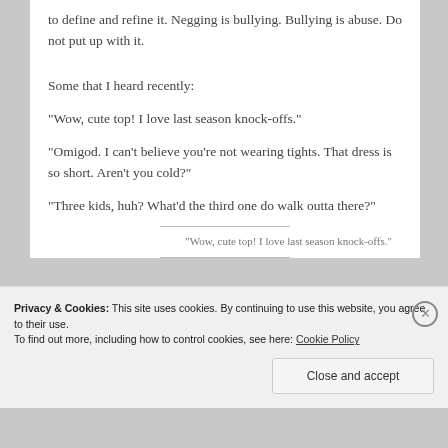to define and refine it. Negging is bullying. Bullying is abuse. Do not put up with it.
Some that I heard recently:
“Wow, cute top! I love last season knock-offs.”
“Omigod. I can’t believe you’re not wearing tights. That dress is so short. Aren’t you cold?”
“Three kids, huh? What’d the third one do walk outta there?”
“Wow, cute top! I love last season knock-offs.”
Privacy & Cookies: This site uses cookies. By continuing to use this website, you agree to their use.
To find out more, including how to control cookies, see here: Cookie Policy
Close and accept